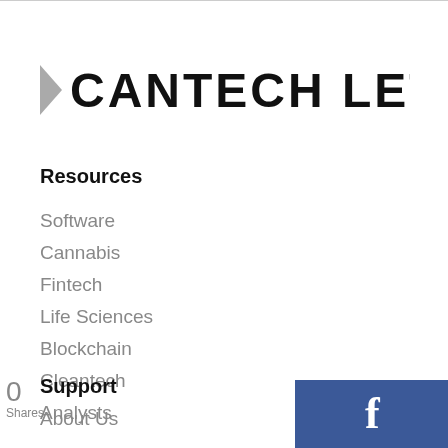[Figure (logo): Cantech Letter logo with grey arrow and bold uppercase text]
Resources
Software
Cannabis
Fintech
Life Sciences
Blockchain
Cleantech
Analysts
Support
About Us
0
Shares
[Figure (other): Facebook share button (blue) and Twitter share button (light blue) at the bottom of the page]